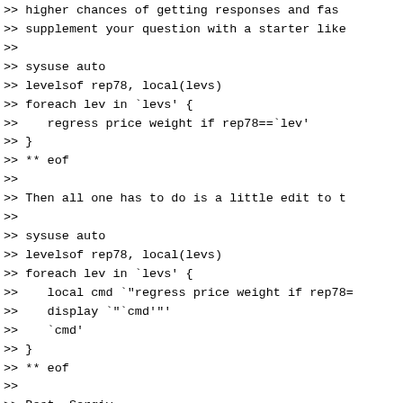>> higher chances of getting responses and fas
>> supplement your question with a starter like
>>
>> sysuse auto
>> levelsof rep78, local(levs)
>> foreach lev in `levs' {
>>    regress price weight if rep78==`lev'
>> }
>> ** eof
>>
>> Then all one has to do is a little edit to t
>>
>> sysuse auto
>> levelsof rep78, local(levs)
>> foreach lev in `levs' {
>>    local cmd `"regress price weight if rep78=
>>    display `"`cmd'"'
>>    `cmd'
>> }
>> ** eof
>>
>> Best, Sergiy
>>
>>
>>